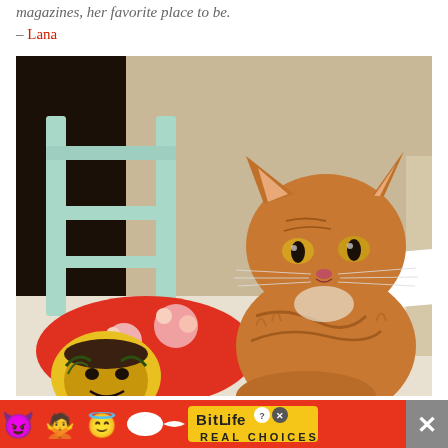magazines, her favorite place to be.
– Lana
[Figure (photo): A fluffy orange tabby cat sitting on a stack of magazines on a table. On the left is a colorful decorative pillow with a face print. In the background is a mint green chair.]
[Figure (infographic): Advertisement for BitLife app: red background with emoji characters (devil, woman, angel), sperm emoji, and BitLife logo in yellow with 'REAL CHOICES' text. Close button (X) on right side.]